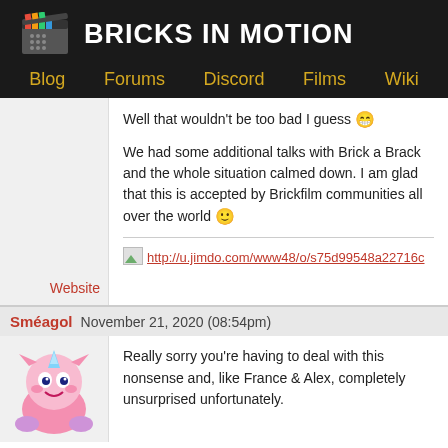BRICKS IN MOTION
Blog  Forums  Discord  Films  Wiki
Well that wouldn't be too bad I guess 😁

We had some additional talks with Brick a Brack and the whole situation calmed down. I am glad that this is accepted by Brickfilm communities all over the world 🙂
http://u.jimdo.com/www48/o/s75d99548a22716c
Website
Sméagol  November 21, 2020 (08:54pm)
Really sorry you're having to deal with this nonsense and, like France & Alex, completely unsurprised unfortunately.